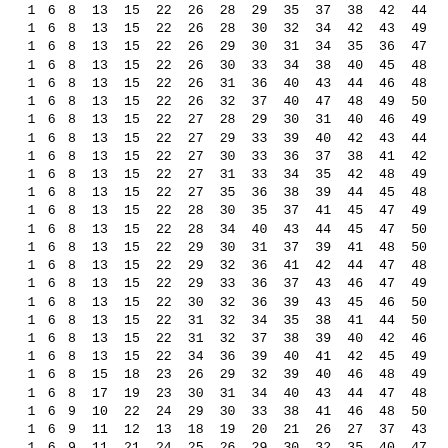| 1 | 6 | 8 | 13 | 15 | 22 | 26 | 28 | 29 | 35 | 37 | 38 | 42 | 44 |
| 1 | 6 | 8 | 13 | 15 | 22 | 26 | 28 | 30 | 32 | 34 | 42 | 43 | 49 |
| 1 | 6 | 8 | 13 | 15 | 22 | 26 | 29 | 30 | 31 | 34 | 35 | 36 | 47 |
| 1 | 6 | 8 | 13 | 15 | 22 | 26 | 30 | 33 | 34 | 38 | 40 | 45 | 48 |
| 1 | 6 | 8 | 13 | 15 | 22 | 26 | 31 | 36 | 40 | 43 | 44 | 46 | 48 |
| 1 | 6 | 8 | 13 | 15 | 22 | 26 | 32 | 37 | 40 | 47 | 48 | 49 | 50 |
| 1 | 6 | 8 | 13 | 15 | 22 | 27 | 28 | 29 | 30 | 31 | 40 | 46 | 49 |
| 1 | 6 | 8 | 13 | 15 | 22 | 27 | 29 | 33 | 39 | 40 | 42 | 43 | 44 |
| 1 | 6 | 8 | 13 | 15 | 22 | 27 | 30 | 33 | 36 | 37 | 38 | 41 | 42 |
| 1 | 6 | 8 | 13 | 15 | 22 | 27 | 31 | 33 | 34 | 35 | 42 | 48 | 49 |
| 1 | 6 | 8 | 13 | 15 | 22 | 27 | 35 | 36 | 38 | 39 | 44 | 45 | 48 |
| 1 | 6 | 8 | 13 | 15 | 22 | 28 | 30 | 35 | 37 | 41 | 45 | 47 | 49 |
| 1 | 6 | 8 | 13 | 15 | 22 | 28 | 34 | 40 | 43 | 44 | 45 | 47 | 50 |
| 1 | 6 | 8 | 13 | 15 | 22 | 29 | 30 | 31 | 37 | 39 | 41 | 48 | 50 |
| 1 | 6 | 8 | 13 | 15 | 22 | 29 | 32 | 36 | 41 | 42 | 44 | 47 | 48 |
| 1 | 6 | 8 | 13 | 15 | 22 | 29 | 33 | 36 | 37 | 43 | 46 | 47 | 49 |
| 1 | 6 | 8 | 13 | 15 | 22 | 30 | 32 | 36 | 39 | 43 | 45 | 46 | 50 |
| 1 | 6 | 8 | 13 | 15 | 22 | 31 | 32 | 34 | 35 | 38 | 41 | 44 | 50 |
| 1 | 6 | 8 | 13 | 15 | 22 | 31 | 32 | 37 | 38 | 39 | 40 | 42 | 46 |
| 1 | 6 | 8 | 13 | 15 | 22 | 34 | 36 | 39 | 40 | 41 | 42 | 45 | 49 |
| 1 | 6 | 8 | 15 | 18 | 23 | 26 | 29 | 32 | 39 | 40 | 46 | 48 | 49 |
| 1 | 6 | 8 | 17 | 19 | 23 | 30 | 31 | 34 | 40 | 43 | 44 | 47 | 48 |
| 1 | 6 | 9 | 10 | 22 | 24 | 29 | 30 | 33 | 38 | 41 | 46 | 48 | 50 |
| 1 | 6 | 9 | 11 | 12 | 13 | 18 | 19 | 20 | 21 | 26 | 27 | 37 | 43 |
| 1 | 6 | 9 | 11 | 21 | 24 | 25 | 26 | 29 | 30 | 32 | 35 | 40 | 47 |
| 1 | 6 | 9 | 12 | 18 | 19 | 23 | 24 | 25 | 27 | 32 | 33 | 42 | 50 |
| 1 | 6 | 9 | 12 | 18 | 19 | 23 | 24 | 26 | 38 | 39 | 41 | 43 | 47 |
| 1 | 6 | 9 | 12 | 18 | 19 | 23 | 24 | 28 | 30 | 36 | 44 | 48 | 49 |
| 1 | 6 | 9 | 12 | 18 | 19 | 23 | 24 | 31 | 34 | 35 | 40 | 45 | 46 |
| 1 | 6 | 9 | 12 | 18 | 19 | 23 | 25 | 26 | 28 | 39 | 40 | 42 | 48 |
| 1 | 6 | 9 | 12 | 18 | 19 | 23 | 25 | 26 | 28 | 39 | 40 | 41 | 47 |